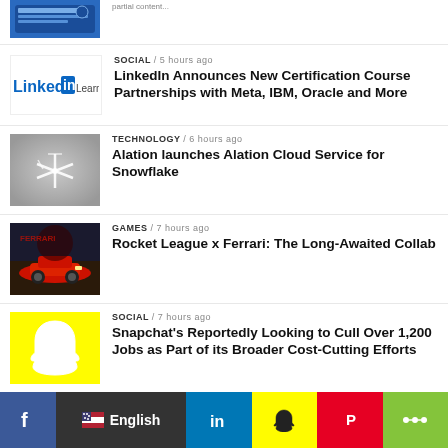[Figure (screenshot): Partial thumbnail of a social media post/screenshot (top of page, partially cropped)]
[Figure (logo): LinkedIn Learning logo]
SOCIAL / 5 hours ago
LinkedIn Announces New Certification Course Partnerships with Meta, IBM, Oracle and More
[Figure (photo): Snowflake/winter themed image - snowflake crystals on grey background]
TECHNOLOGY / 6 hours ago
Alation launches Alation Cloud Service for Snowflake
[Figure (photo): Red Ferrari sports car on dark background - Rocket League x Ferrari game image]
GAMES / 7 hours ago
Rocket League x Ferrari: The Long-Awaited Collab
[Figure (logo): Snapchat ghost logo on yellow background]
SOCIAL / 7 hours ago
Snapchat's Reportedly Looking to Cull Over 1,200 Jobs as Part of its Broader Cost-Cutting Efforts
[Figure (infographic): Social sharing bar with Facebook, English language selector, LinkedIn, Snapchat, Pinterest, and share icons]